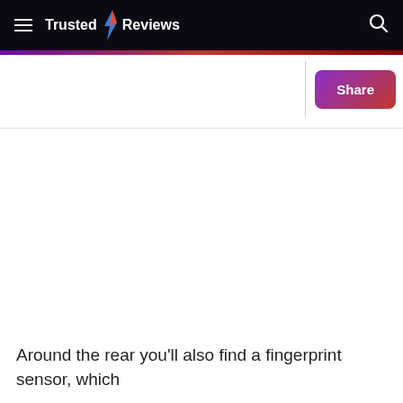Trusted Reviews
[Figure (other): Large blank/white image area, likely a product photo that did not load]
Around the rear you'll also find a fingerprint sensor, which